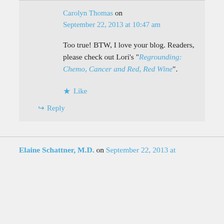Carolyn Thomas on September 22, 2013 at 10:47 am
Too true! BTW, I love your blog. Readers, please check out Lori's “Regrounding: Chemo, Cancer and Red, Red Wine”.
Like
Reply
Elaine Schattner, M.D. on September 22, 2013 at